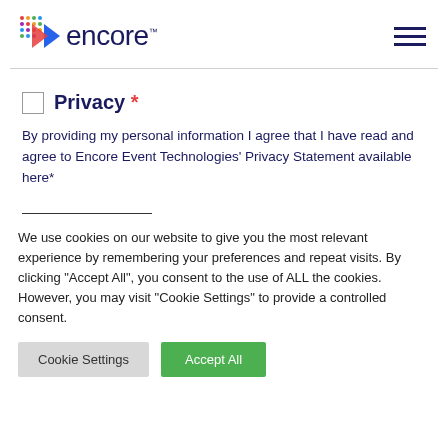[Figure (logo): Encore logo with colorful diamond/arrow icon and dark blue 'encore' text]
Privacy *
By providing my personal information I agree that I have read and agree to Encore Event Technologies' Privacy Statement available here*
We use cookies on our website to give you the most relevant experience by remembering your preferences and repeat visits. By clicking “Accept All”, you consent to the use of ALL the cookies. However, you may visit "Cookie Settings" to provide a controlled consent.
Cookie Settings
Accept All